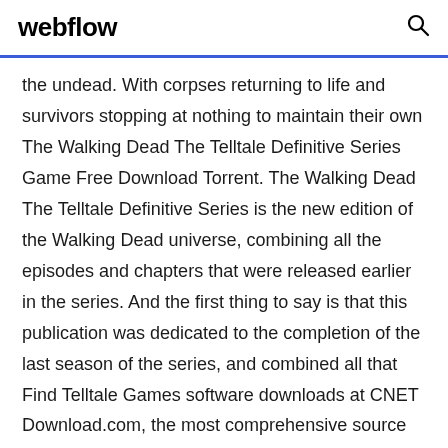webflow
the undead. With corpses returning to life and survivors stopping at nothing to maintain their own The Walking Dead The Telltale Definitive Series Game Free Download Torrent. The Walking Dead The Telltale Definitive Series is the new edition of the Walking Dead universe, combining all the episodes and chapters that were released earlier in the series. And the first thing to say is that this publication was dedicated to the completion of the last season of the series, and combined all that Find Telltale Games software downloads at CNET Download.com, the most comprehensive source for safe, trusted, and spyware-free downloads on the Web Graphically. The